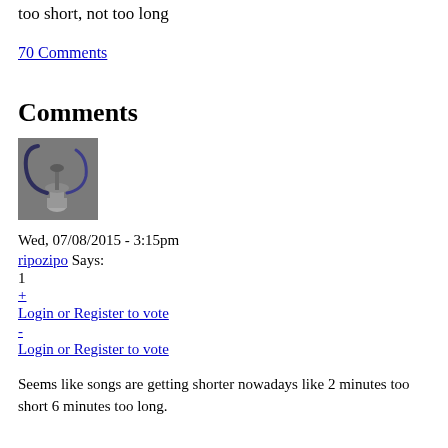too short, not too long
70 Comments
Comments
[Figure (photo): Avatar image showing a hookah or water pipe device with blue hose]
Wed, 07/08/2015 - 3:15pm
ripozipo Says:
1
+
Login or Register to vote
-
Login or Register to vote
Seems like songs are getting shorter nowadays like 2 minutes too short 6 minutes too long.